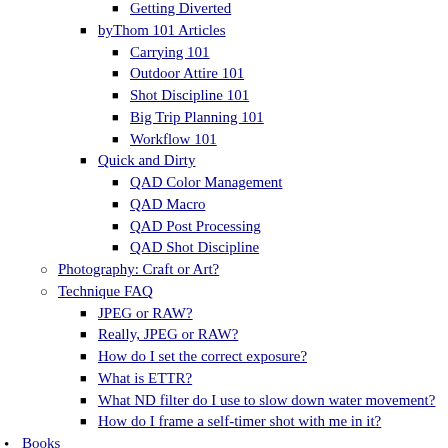Getting Diverted (truncated top)
byThom 101 Articles
Carrying 101
Outdoor Attire 101
Shot Discipline 101
Big Trip Planning 101
Workflow 101
Quick and Dirty
QAD Color Management
QAD Macro
QAD Post Processing
QAD Shot Discipline
Photography: Craft or Art?
Technique FAQ
JPEG or RAW?
Really, JPEG or RAW?
How do I set the correct exposure?
What is ETTR?
What ND filter do I use to slow down water movement?
How do I frame a self-timer shot with me in it?
Books
byThom Guides—Current DSLRs
Nikon D600/D610 Guide, 2nd Ed
Nikon D800 and D800E Guide
Nikon D7200 Guide (truncated)